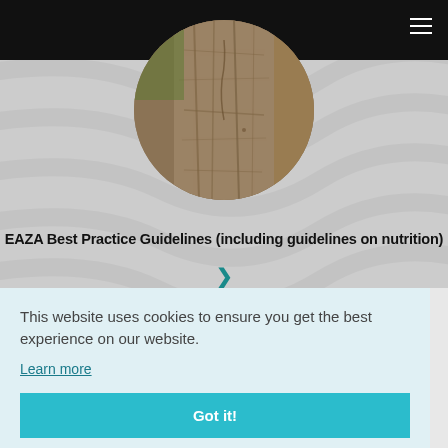[Figure (photo): Circular cropped photo showing tree bark texture close-up with an animal partially visible]
EAZA Best Practice Guidelines (including guidelines on nutrition)
This website uses cookies to ensure you get the best experience on our website.
Learn more
Got it!
9th European Zoo Nutrition Conference - Liberec (2017)